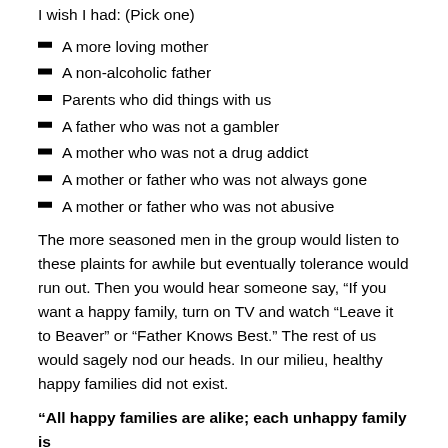I wish I had:  (Pick one)
A more loving mother
A non-alcoholic father
Parents who did things with us
A father who was not a gambler
A mother who was not a drug addict
A mother or father who was not always gone
A mother or father who was not abusive
The more seasoned men in the group would listen to these plaints for awhile but eventually tolerance would run out.  Then you would hear someone say, “If you want a happy family, turn on TV and watch “Leave it to Beaver” or “Father Knows Best.”  The rest of us would sagely nod our heads.  In our milieu, healthy happy families did not exist.
“All happy families are alike; each unhappy family is